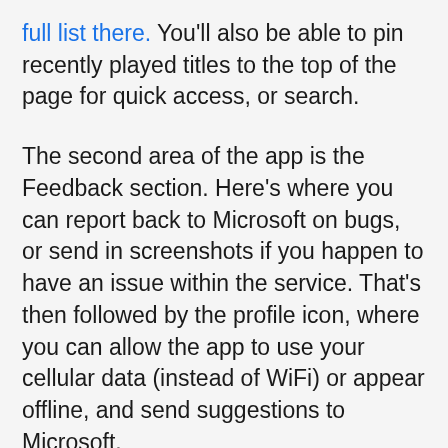full list there. You'll also be able to pin recently played titles to the top of the page for quick access, or search.
The second area of the app is the Feedback section. Here's where you can report back to Microsoft on bugs, or send in screenshots if you happen to have an issue within the service. That's then followed by the profile icon, where you can allow the app to use your cellular data (instead of WiFi) or appear offline, and send suggestions to Microsoft.
While cool, using this app to enjoy xCloud is quite stressful on my phone. I started my tests with a 100% battery, but after streaming xCloud over both WiFi, and LTE and traveling, my battery drained down